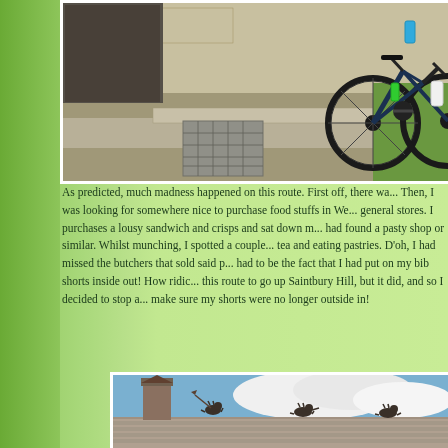[Figure (photo): A bicycle leaning against a stone wall/step outside a building, with grass visible on the right side.]
As predicted, much madness happened on this route. First off, there wa... Then, I was looking for somewhere nice to purchase food stuffs in We... general stores. I purchases a lousy sandwich and crisps and sat down m... had found a pasty shop or similar. Whilst munching, I spotted a couple... tea and eating pastries. D'oh, I had missed the butchers that sold said p... had to be the fact that I had put on my bib shorts inside out! How ridic... this route to go up Saintbury Hill, but it did, and so I decided to stop a... make sure my shorts were no longer outside in!
[Figure (photo): Rooftop of a stone building with decorative animal sculptures (cats or similar) along the ridge, against a blue sky with clouds.]